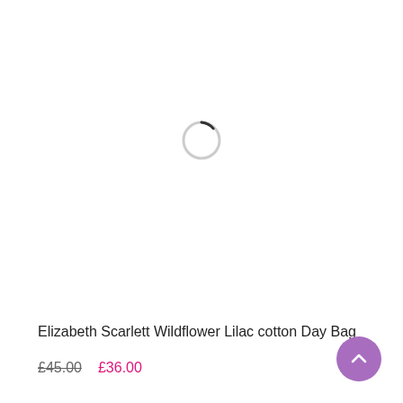[Figure (other): Loading spinner — a thin grey circle with a small dark arc at the top-right indicating a spinning/loading state]
Elizabeth Scarlett Wildflower Lilac cotton Day Bag
£45.00  £36.00